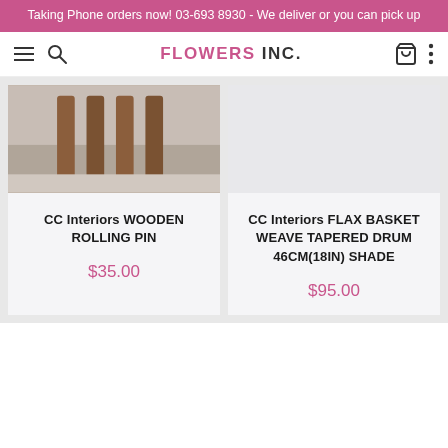Taking Phone orders now! 03-693 8930 - We deliver or you can pick up
FLOWERS INC.
[Figure (photo): Product image showing wooden rolling pins with brown handles on a light surface]
CC Interiors WOODEN ROLLING PIN
$35.00
[Figure (photo): Product image area for CC Interiors Flax Basket Weave Tapered Drum Shade - mostly blank/white]
CC Interiors FLAX BASKET WEAVE TAPERED DRUM 46CM(18IN) SHADE
$95.00
[Figure (photo): Decorative floral strip with yellow and red flowers at bottom of page]
ADD TO CART